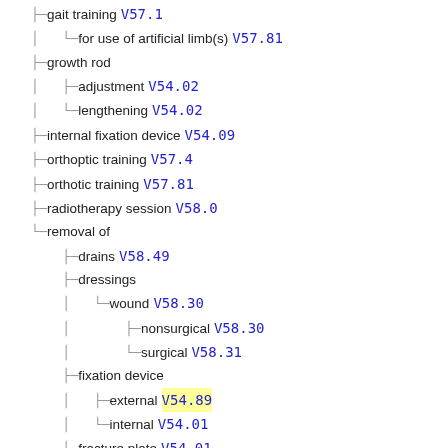gait training V57.1
for use of artificial limb(s) V57.81
growth rod
adjustment V54.02
lengthening V54.02
internal fixation device V54.09
orthoptic training V57.4
orthotic training V57.81
radiotherapy session V58.0
removal of
drains V58.49
dressings
wound V58.30
nonsurgical V58.30
surgical V58.31
fixation device
external V54.89
internal V54.01
fracture plate V54.01
nonsurgical wound dressing V58.30
pins V54.01
plaster cast V54.89
rods V54.01